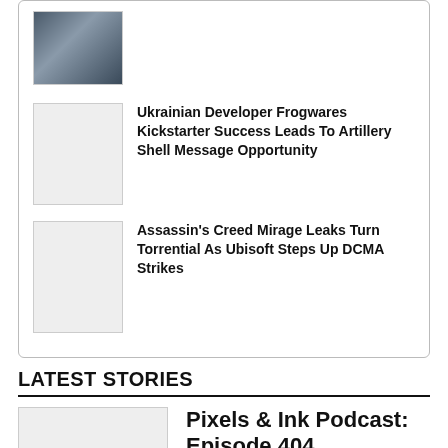[Figure (photo): Armored robot/mech suit photo thumbnail]
Ukrainian Developer Frogwares Kickstarter Success Leads To Artillery Shell Message Opportunity
[Figure (photo): Blank image placeholder thumbnail]
Assassin's Creed Mirage Leaks Turn Torrential As Ubisoft Steps Up DCMA Strikes
[Figure (photo): Blank image placeholder thumbnail]
LATEST STORIES
[Figure (photo): Large blank image placeholder thumbnail]
Pixels & Ink Podcast: Episode 404
In an all hands on deck edition